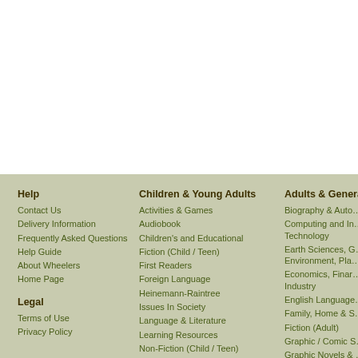Help
Contact Us
Delivery Information
Frequently Asked Questions
Help Guide
About Wheelers
Home Page
Legal
Terms of Use
Privacy Policy
Children & Young Adults
Activities & Games
Audiobook
Children's and Educational
Fiction (Child / Teen)
First Readers
Foreign Language
Heinemann-Raintree
Issues In Society
Language & Literature
Learning Resources
Non-Fiction (Child / Teen)
Picture Books
Playscripts (Kids / Teens)
Reference
Adults & General ...
Biography & Auto...
Computing and In... Technology
Earth Sciences, G... Environment, Pla...
Economics, Finar... Industry
English Language...
Family, Home & S...
Fiction (Adult)
Graphic / Comic S...
Graphic Novels & ...
History, Philosoph...
Language & Litera...
Copyright © 2022 Whe...